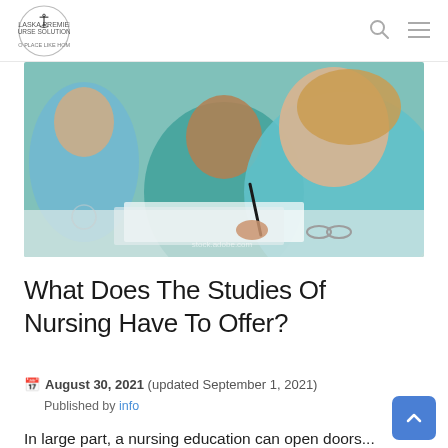Alaska Premier Nurse Solutions — navigation logo, search icon, menu icon
[Figure (photo): Nursing students in teal/blue scrubs sitting at desks writing notes, photographed from a side angle showing multiple people in the foreground and background.]
What Does The Studies Of Nursing Have To Offer?
August 30, 2021 (updated September 1, 2021)
Published by info
In large font partial text at bottom edge